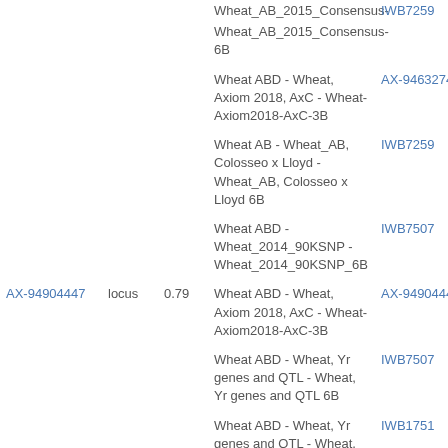| ID | Type | Val | Map | Marker |
| --- | --- | --- | --- | --- |
|  |  |  | Wheat_AB_2015_Consensus- | IWB7259 |
|  |  |  | Wheat_AB_2015_Consensus-6B |  |
|  |  |  | Wheat ABD - Wheat, Axiom 2018, AxC - Wheat-Axiom2018-AxC-3B | AX-94632746 |
|  |  |  | Wheat AB - Wheat_AB, Colosseo x Lloyd - Wheat_AB, Colosseo x Lloyd 6B | IWB7259 |
|  |  |  | Wheat ABD - Wheat_2014_90KSNP - Wheat_2014_90KSNP_6B | IWB7507 |
| AX-94904447 | locus | 0.79 | Wheat ABD - Wheat, Axiom 2018, AxC - Wheat-Axiom2018-AxC-3B | AX-94904447 |
|  |  |  | Wheat ABD - Wheat, Yr genes and QTL - Wheat, Yr genes and QTL 6B | IWB7507 |
|  |  |  | Wheat ABD - Wheat, Yr genes and QTL - Wheat, Yr genes and QTL 6B | IWB1751 |
| AX-94978230 | locus | 0.79 | Wheat ABD - Wheat, Axiom 2018, AxC - Wheat-Axiom2018-AxC-3B | AX-94978230 |